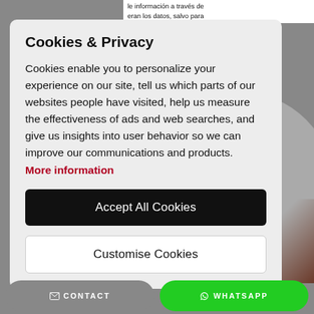le información a través de eran los datos, salvo para
Cookies & Privacy
Cookies enable you to personalize your experience on our site, tell us which parts of our websites people have visited, help us measure the effectiveness of ads and web searches, and give us insights into user behavior so we can improve our communications and products.
More information
Accept All Cookies
Customise Cookies
CONTACT
WHATSAPP